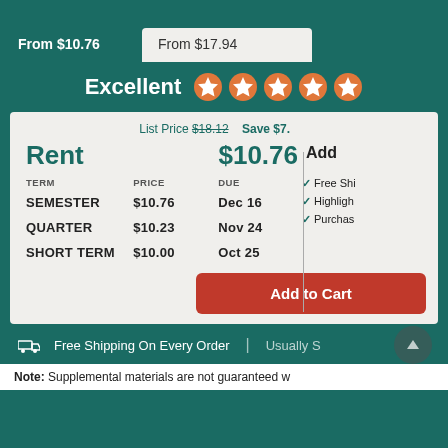From $10.76
From $17.94
Excellent ★★★★★
List Price $18.12  Save $7.
| TERM | PRICE | DUE |
| --- | --- | --- |
| SEMESTER | $10.76 | Dec 16 |
| QUARTER | $10.23 | Nov 24 |
| SHORT TERM | $10.00 | Oct 25 |
Add to Cart
Free Shipping On Every Order  |  Usually S
Note: Supplemental materials are not guaranteed w